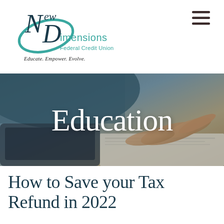[Figure (logo): New Dimensions Federal Credit Union logo with teal swoosh design]
Educate. Empower. Evolve.
[Figure (other): Hamburger menu icon (three horizontal lines)]
[Figure (photo): Hero banner photo showing a person's hand pointing at paper documents on a desk, overlaid with the word 'Education' in white text]
How to Save your Tax Refund in 2022